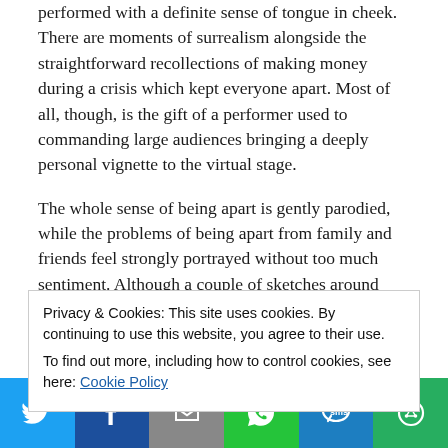performed with a definite sense of tongue in cheek. There are moments of surrealism alongside the straightforward recollections of making money during a crisis which kept everyone apart. Most of all, though, is the gift of a performer used to commanding large audiences bringing a deeply personal vignette to the virtual stage.
The whole sense of being apart is gently parodied, while the problems of being apart from family and friends feel strongly portrayed without too much sentiment. Although a couple of sketches around following up Covid symptoms feel a bit tired now (I feel we are somewhat lethargic when it comes to thinking about the pandemic now, having seen it addressed more than once in art), the bulk of the show has much more to
Privacy & Cookies: This site uses cookies. By continuing to use this website, you agree to their use.
To find out more, including how to control cookies, see here: Cookie Policy
[Figure (other): Social media share bar with icons for Twitter, Facebook, Email, WhatsApp, SMS, and More]